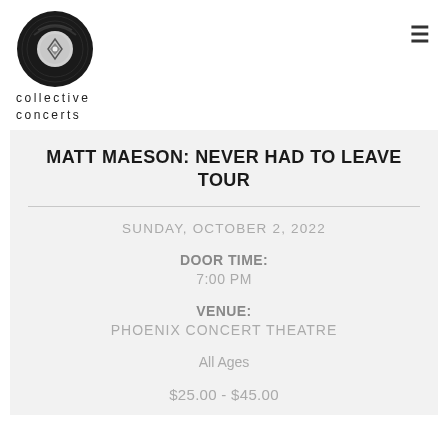[Figure (logo): Collective Concerts vinyl record logo — black circular vinyl disc with a diamond/eye design in the center label area]
collective
concerts
MATT MAESON: NEVER HAD TO LEAVE TOUR
SUNDAY, OCTOBER 2, 2022
DOOR TIME:
7:00 PM
VENUE:
PHOENIX CONCERT THEATRE
All Ages
$25.00 - $45.00